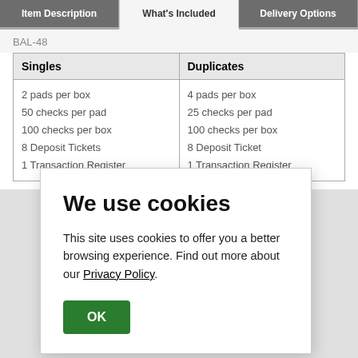Item Description | What's Included | Delivery Options
BAL-48
| Singles | Duplicates |
| --- | --- |
| 2 pads per box
50 checks per pad
100 checks per box
8 Deposit Tickets
1 Transaction Register | 4 pads per box
25 checks per pad
100 checks per box
8 Deposit Ticket
1 Transaction Register |
We use cookies
This site uses cookies to offer you a better browsing experience. Find out more about our Privacy Policy.
OK